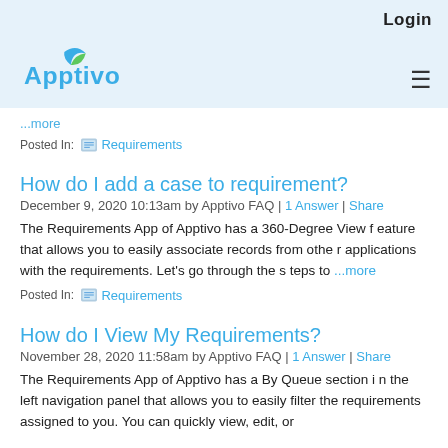Login | Apptivo
...more
Posted In: Requirements
How do I add a case to requirement?
December 9, 2020 10:13am by Apptivo FAQ | 1 Answer | Share
The Requirements App of Apptivo has a 360-Degree View feature that allows you to easily associate records from other applications with the requirements. Let’s go through the steps to ...more
Posted In: Requirements
How do I View My Requirements?
November 28, 2020 11:58am by Apptivo FAQ | 1 Answer | Share
The Requirements App of Apptivo has a By Queue section in the left navigation panel that allows you to easily filter the requirements assigned to you. You can quickly view, edit, or